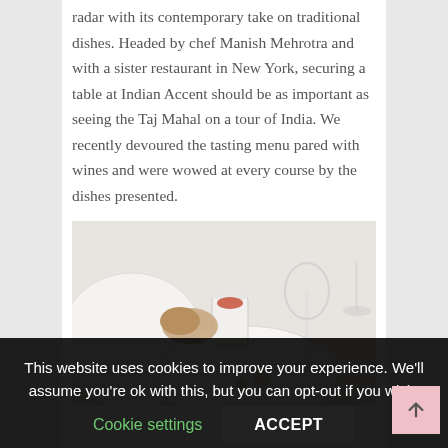radar with its contemporary take on traditional dishes. Headed by chef Manish Mehrotra and with a sister restaurant in New York, securing a table at Indian Accent should be as important as seeing the Taj Mahal on a tour of India. We recently devoured the tasting menu pared with wines and were wowed at every course by the dishes presented.
[Figure (photo): Restaurant table setting with white plates, a small white ceramic pitcher with sauce, food items, and wine glasses visible from above.]
This website uses cookies to improve your experience. We'll assume you're ok with this, but you can opt-out if you wish.
Cookie settings  ACCEPT